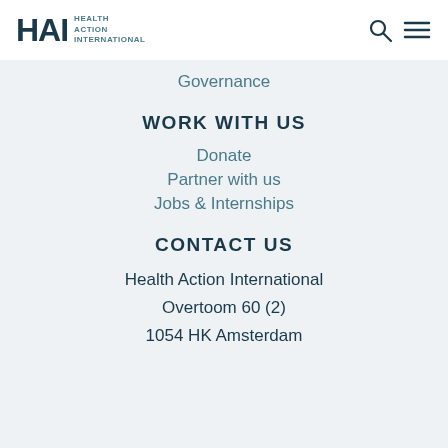[Figure (logo): HAI Health Action International logo with search and menu icons]
Governance
WORK WITH US
Donate
Partner with us
Jobs & Internships
CONTACT US
Health Action International
Overtoom 60 (2)
1054 HK Amsterdam